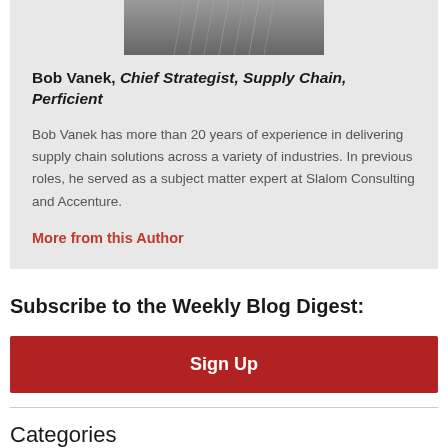[Figure (photo): Partial photo of Bob Vanek at top of author card]
Bob Vanek, Chief Strategist, Supply Chain, Perficient
Bob Vanek has more than 20 years of experience in delivering supply chain solutions across a variety of industries. In previous roles, he served as a subject matter expert at Slalom Consulting and Accenture.
More from this Author
Subscribe to the Weekly Blog Digest:
Sign Up
Categories